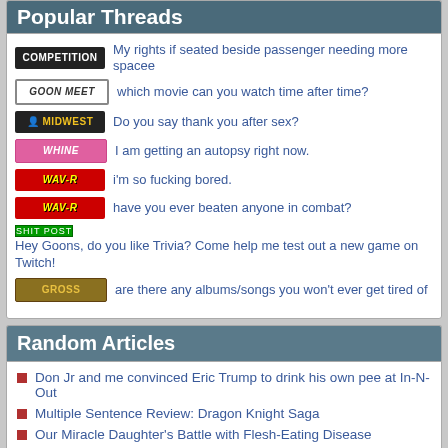Popular Threads
My rights if seated beside passenger needing more spacee
which movie can you watch time after time?
Do you say thank you after sex?
I am getting an autopsy right now.
i'm so fucking bored.
have you ever beaten anyone in combat?
Hey Goons, do you like Trivia? Come help me test out a new game on Twitch!
are there any albums/songs you won't ever get tired of
Random Articles
Don Jr and me convinced Eric Trump to drink his own pee at In-N-Out
Multiple Sentence Review: Dragon Knight Saga
Our Miracle Daughter's Battle with Flesh-Eating Disease
Men's Hats Ranked From Most to Least Tainted
Conservapedia
Search